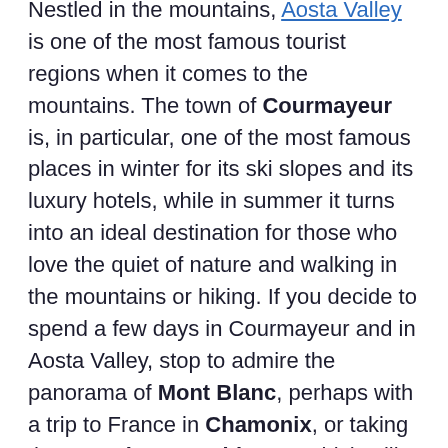Nestled in the mountains, Aosta Valley is one of the most famous tourist regions when it comes to the mountains. The town of Courmayeur is, in particular, one of the most famous places in winter for its ski slopes and its luxury hotels, while in summer it turns into an ideal destination for those who love the quiet of nature and walking in the mountains or hiking. If you decide to spend a few days in Courmayeur and in Aosta Valley, stop to admire the panorama of Mont Blanc, perhaps with a trip to France in Chamonix, or taking the new Skyway cable car, which will take you up to the altitude. Do not miss the thermal baths of Courmayeur too.
Piedmont